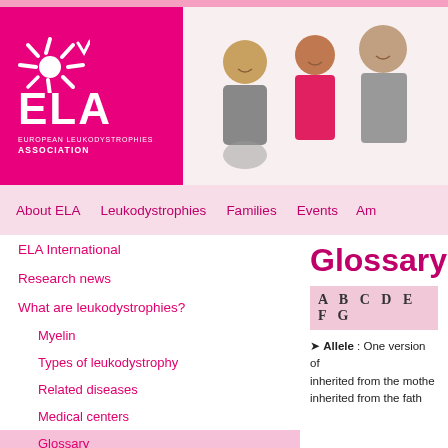[Figure (logo): ELA European Leukodystrophies Association logo - white text and sun emblem on magenta/pink background]
[Figure (photo): Family photo showing a man and children, one in a wheelchair, smiling together on white background]
About ELA   Leukodystrophies   Families   Events   Am
ELA International
Research news
What are leukodystrophies?
Myelin
Types of leukodystrophy
Related diseases
Medical centers
Glossary
Glossary
A B C D E F G
Allele : One version of inherited from the mothe inherited from the fath